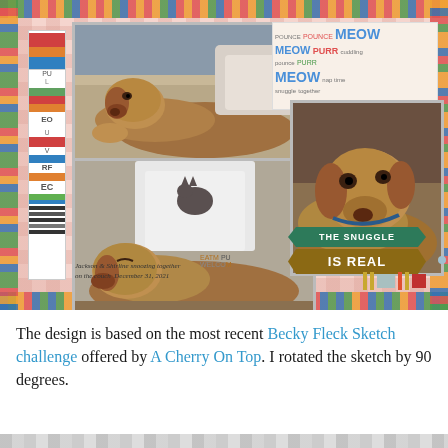[Figure (photo): Scrapbook layout featuring multiple photos of a golden/reddish dog (and a cat) on a couch. Photos are arranged on a pink gingham patterned background with colorful dot border. Includes decorative elements: a left strip with colored rectangles, a cat-themed word collage block, a teal/gold 'THE SNUGGLE IS REAL' pennant banner, and small color chips. Handwritten caption reads: 'Jackson & Shirline snoozing together on the couch December 31, 2021'.]
The design is based on the most recent Becky Fleck Sketch challenge offered by A Cherry On Top. I rotated the sketch by 90 degrees.